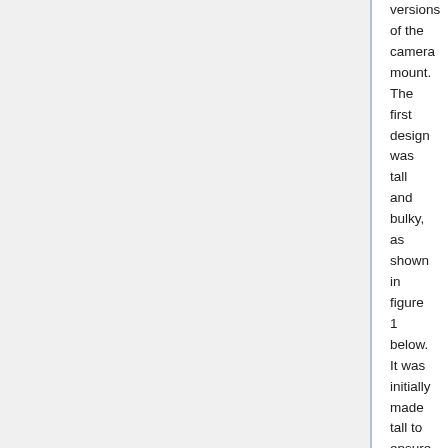versions of the camera mount. The first design was tall and bulky, as shown in figure 1 below. It was initially made tall to ensure that the camera would capture a wide field of view and see further down the track. A bolt-and-nut mechanism was used to lock the camera enclosure while giving flexibility to try out different camera angles and find the most optimal. During the final project, a second version (see Figure 2) was created that was more compact by reducing the amount of material used while still providing flexibility to adjust the camera angles.
Some Recaps of Achievements!!
{{#evu:https://www.youtube.com/watch?v=vc0IC4iGEOA%7C960x540%7Cleft%